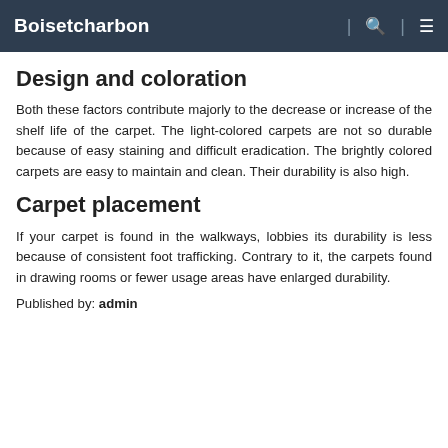Boisetcharbon
Design and coloration
Both these factors contribute majorly to the decrease or increase of the shelf life of the carpet. The light-colored carpets are not so durable because of easy staining and difficult eradication. The brightly colored carpets are easy to maintain and clean. Their durability is also high.
Carpet placement
If your carpet is found in the walkways, lobbies its durability is less because of consistent foot trafficking. Contrary to it, the carpets found in drawing rooms or fewer usage areas have enlarged durability.
Published by: admin